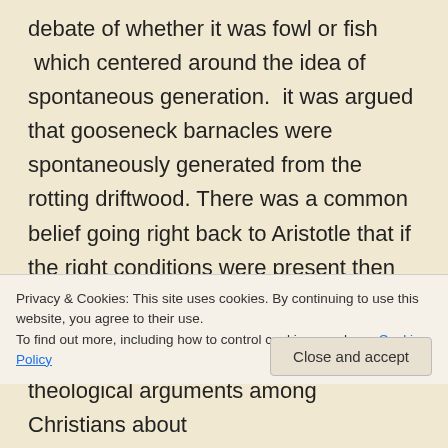debate of whether it was fowl or fish  which centered around the idea of spontaneous generation.  it was argued that gooseneck barnacles were spontaneously generated from the rotting driftwood. There was a common belief going right back to Aristotle that if the right conditions were present then the spontaneous generation of living organisms could and did occur arising from inorganic or nonliving material.   Despite the remarkable nature of the supposed origin of these lifeforms
Privacy & Cookies: This site uses cookies. By continuing to use this website, you agree to their use.
To find out more, including how to control cookies, see here: Cookie Policy
theological arguments among Christians about